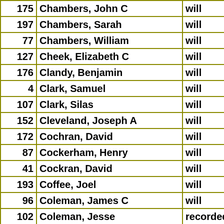| # | Name | Type |
| --- | --- | --- |
| 175 | Chambers, John C | will |
| 197 | Chambers, Sarah | will |
| 77 | Chambers, William | will |
| 127 | Cheek, Elizabeth C | will |
| 176 | Clandy, Benjamin | will |
| 4 | Clark, Samuel | will |
| 107 | Clark, Silas | will |
| 152 | Cleveland, Joseph A | will |
| 172 | Cochran, David | will |
| 87 | Cockerham, Henry | will |
| 41 | Cockran, David | will |
| 193 | Coffee, Joel | will |
| 96 | Coleman, James C | will |
| 102 | Coleman, Jesse | recorded 1836 |
| 170 | Conge, John | will |
| 98 | Corley, Nathaniel | will |
| 159 | Corly, Thomas W | will |
| 83 | Cornwell, Francis | will |
| 75 | Crutchifield, Thomas | will |
| 161 | Dawson, John | will |
| 89 | Day, Philip | will |